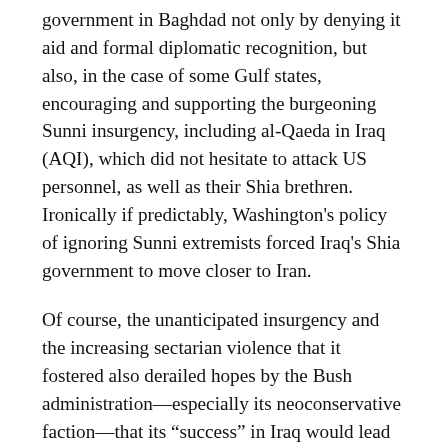government in Baghdad not only by denying it aid and formal diplomatic recognition, but also, in the case of some Gulf states, encouraging and supporting the burgeoning Sunni insurgency, including al-Qaeda in Iraq (AQI), which did not hesitate to attack US personnel, as well as their Shia brethren. Ironically if predictably, Washington's policy of ignoring Sunni extremists forced Iraq's Shia government to move closer to Iran.
Of course, the unanticipated insurgency and the increasing sectarian violence that it fostered also derailed hopes by the Bush administration—especially its neoconservative faction—that its “success” in Iraq would lead to “regime change”—either through destabilization or an actual attack—as well. At the same time, however, the administration had its idea that the